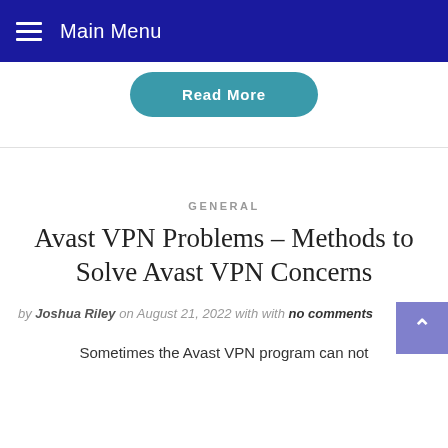Main Menu
Read More
GENERAL
Avast VPN Problems – Methods to Solve Avast VPN Concerns
by Joshua Riley on August 21, 2022 with with no comments
Sometimes the Avast VPN program can not